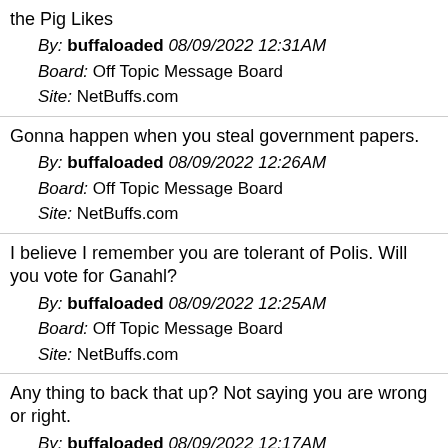the Pig Likes
By: buffaloaded 08/09/2022 12:31AM
Board: Off Topic Message Board
Site: NetBuffs.com
Gonna happen when you steal government papers.
By: buffaloaded 08/09/2022 12:26AM
Board: Off Topic Message Board
Site: NetBuffs.com
I believe I remember you are tolerant of Polis. Will you vote for Ganahl?
By: buffaloaded 08/09/2022 12:25AM
Board: Off Topic Message Board
Site: NetBuffs.com
Any thing to back that up? Not saying you are wrong or right.
By: buffaloaded 08/09/2022 12:17AM
Board: Off Topic Message Board
Site: NetBuffs.com
The Denver Center did a cycle of his plays a while ago. We